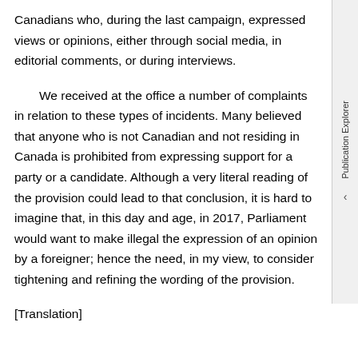Canadians who, during the last campaign, expressed views or opinions, either through social media, in editorial comments, or during interviews.
We received at the office a number of complaints in relation to these types of incidents. Many believed that anyone who is not Canadian and not residing in Canada is prohibited from expressing support for a party or a candidate. Although a very literal reading of the provision could lead to that conclusion, it is hard to imagine that, in this day and age, in 2017, Parliament would want to make illegal the expression of an opinion by a foreigner; hence the need, in my view, to consider tightening and refining the wording of the provision.
[Translation]